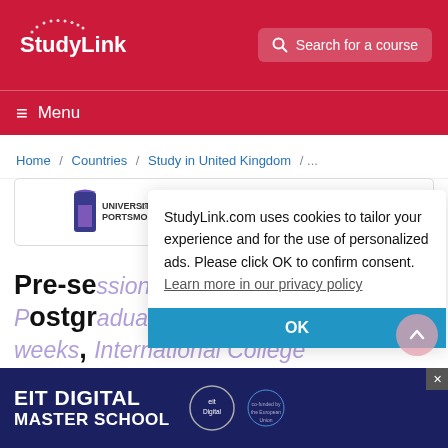[Figure (logo): StudyLink logo - white text on red background]
Search for a course
Menu
Home / Countries / Study in United Kingdom / ...
[Figure (logo): University of Portsmouth and ICP logos]
StudyLink.com uses cookies to tailor your experience and for the use of personalized ads. Please click OK to confirm consent. Learn more in our privacy policy
OK
Pre-sessional English for Postgraduate - (Pre-Master's) - 6 weeks, International College Portsmouth (ICP)
[Figure (logo): EIT Digital Master School banner with logo]